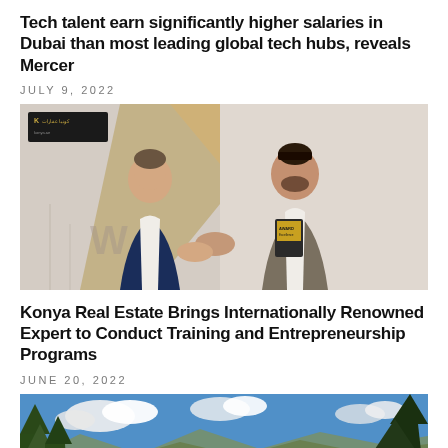Tech talent earn significantly higher salaries in Dubai than most leading global tech hubs, reveals Mercer
JULY 9, 2022
[Figure (photo): Two men in suits shaking hands at an event, one holding an award plaque. A banner with Konya logo is visible in the background.]
Konya Real Estate Brings Internationally Renowned Expert to Conduct Training and Entrepreneurship Programs
JUNE 20, 2022
[Figure (photo): Scenic landscape photograph showing trees, mountains, and a lake or bay under a partly cloudy blue sky.]